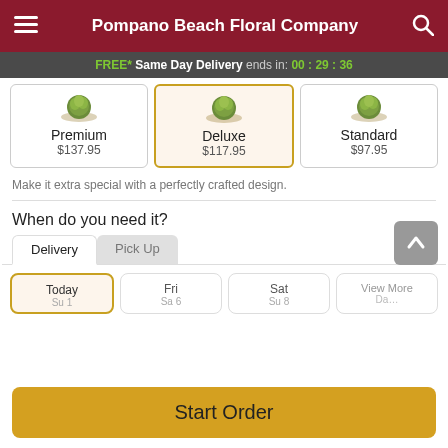Pompano Beach Floral Company
FREE* Same Day Delivery ends in: 00:29:36
Premium $137.95 | Deluxe $117.95 | Standard $97.95
Make it extra special with a perfectly crafted design.
When do you need it?
Delivery | Pick Up
Today | Fri | Sat | View More